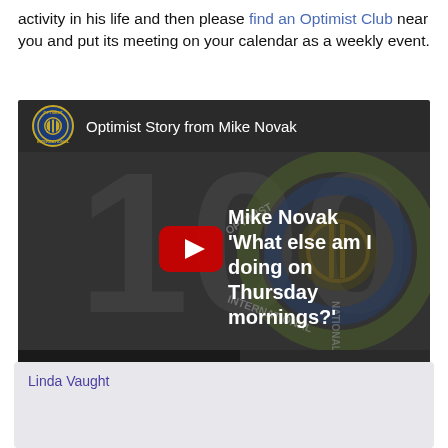activity in his life and then please find an Optimist Club near you and put its meeting on your calendar as a weekly event.
[Figure (screenshot): YouTube video embed thumbnail for 'Optimist Story from Mike Novak' showing the Optimist International logo, a play button, text reading 'Mike Novak \'What else am I doing on Thursday mornings?\'' and a 'Watch on YouTube' bar at the bottom.]
Linda Vaught